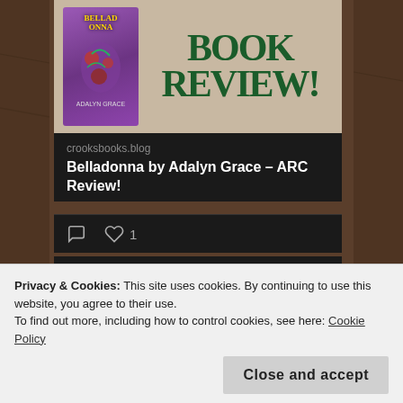[Figure (screenshot): Book review card with Belladonna book cover image and 'BOOK REVIEW!' text on stone wall background]
crooksbooks.blog
Belladonna by Adalyn Grace – ARC Review!
[Figure (screenshot): Social interaction icons: comment bubble and heart with count 1]
[Figure (screenshot): Twitter card with Becky's Bo... @bec... · 11h tweet saying 'I've just completed my']
Privacy & Cookies: This site uses cookies. By continuing to use this website, you agree to their use.
To find out more, including how to control cookies, see here: Cookie Policy
Close and accept